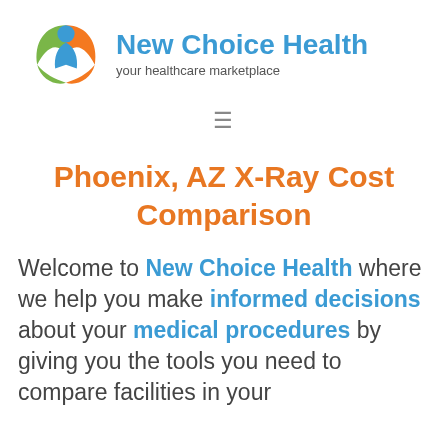[Figure (logo): New Choice Health logo: circular emblem with green, blue, and orange sections with a person silhouette, next to the text 'New Choice Health' and tagline 'your healthcare marketplace']
Phoenix, AZ X-Ray Cost Comparison
Welcome to New Choice Health where we help you make informed decisions about your medical procedures by giving you the tools you need to compare facilities in your